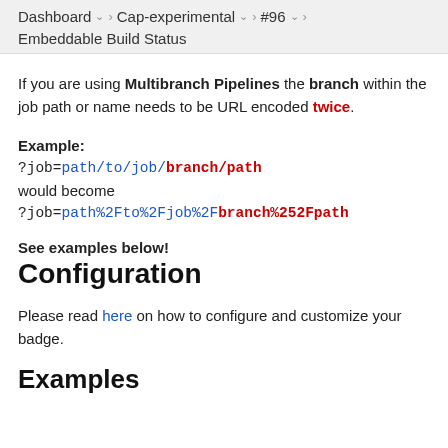Dashboard > Cap-experimental > #96 > Embeddable Build Status
If you are using Multibranch Pipelines the branch within the job path or name needs to be URL encoded twice.
Example:
?job=path/to/job/branch/path
would become
?job=path%2Fto%2Fjob%2Fbranch%252Fpath
See examples below!
Configuration
Please read here on how to configure and customize your badge.
Examples